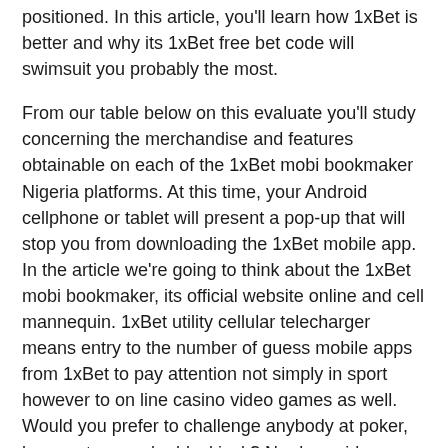positioned. In this article, you'll learn how 1xBet is better and why its 1xBet free bet code will swimsuit you probably the most.
From our table below on this evaluate you'll study concerning the merchandise and features obtainable on each of the 1xBet mobi bookmaker Nigeria platforms. At this time, your Android cellphone or tablet will present a pop-up that will stop you from downloading the 1xBet mobile app. In the article we're going to think about the 1xBet mobi bookmaker, its official website online and cell mannequin. 1xBet utility cellular telecharger means entry to the number of guess mobile apps from 1xBet to pay attention not simply in sport however to on line casino video games as well. Would you prefer to challenge anybody at poker, baccarat or maybe blackjack? No downside – situated sellers are at your assistance instantly in the 1xBet portable app Android.
To entry the mobile model of 1xbet, you'll use the similar information as for the standard website online. The